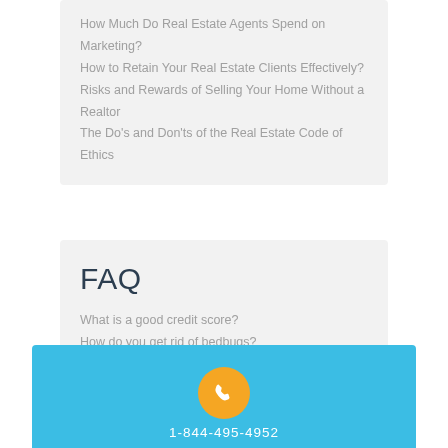How Much Do Real Estate Agents Spend on Marketing?
How to Retain Your Real Estate Clients Effectively?
Risks and Rewards of Selling Your Home Without a Realtor
The Do's and Don'ts of the Real Estate Code of Ethics
FAQ
What is a good credit score?
How do you get rid of bedbugs?
Is Palm Coast FL A good place to retire?
Is new construction a good investment?
Is Hilton Head SC a good place to live?
1-844-495-4952